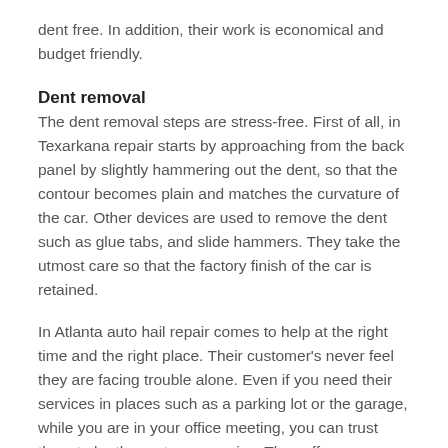dent free. In addition, their work is economical and budget friendly.
Dent removal
The dent removal steps are stress-free. First of all, in Texarkana repair starts by approaching from the back panel by slightly hammering out the dent, so that the contour becomes plain and matches the curvature of the car. Other devices are used to remove the dent such as glue tabs, and slide hammers. They take the utmost care so that the factory finish of the car is retained.
In Atlanta auto hail repair comes to help at the right time and the right place. Their customer's never feel they are facing trouble alone. Even if you need their services in places such as a parking lot or the garage, while you are in your office meeting, you can trust them to be there at your service. They offer a comprehensive service package with various dent